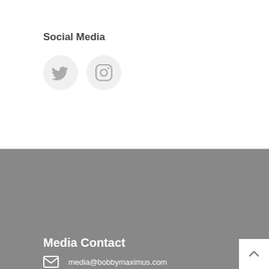Social Media
[Figure (illustration): Two circular icon buttons: Twitter bird icon and Instagram camera icon, on a light gray circular background]
Media Contact
media@bobbymaximus.com